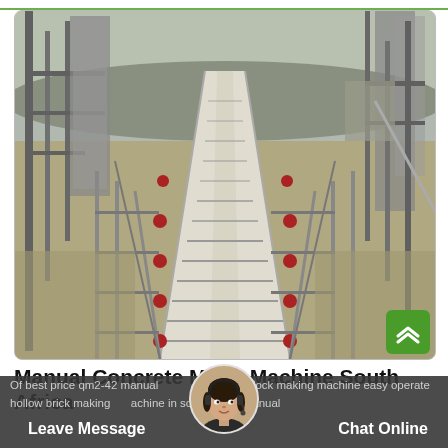[Figure (photo): Aerial/elevated view looking down a conveyor belt at an industrial mining or quarrying facility with metal structures, gantries, railing, and conveyor systems in a dry landscape.]
Manual Concrete Mixer Machine South Africa
Of best price qm2-42 manual concrete block making machine easy operate hollow brick making machine in south africa manual
Leave Message
Chat Online